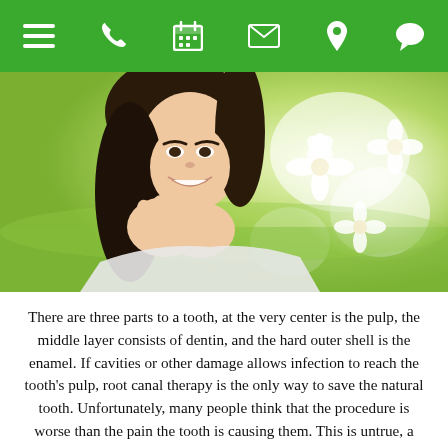[Navigation bar with menu, phone, calendar, email, location, and chat icons]
[Figure (photo): A smiling young woman with dark hair, resting her chin on her hands, surrounded by white flowers in a bright outdoor setting.]
There are three parts to a tooth, at the very center is the pulp, the middle layer consists of dentin, and the hard outer shell is the enamel. If cavities or other damage allows infection to reach the tooth's pulp, root canal therapy is the only way to save the natural tooth. Unfortunately, many people think that the procedure is worse than the pain the tooth is causing them. This is untrue, a root canal is a simple procedure, it only takes about an hour, and, when complete, patients are pleasantly surprised to discover the excruciating pain they were